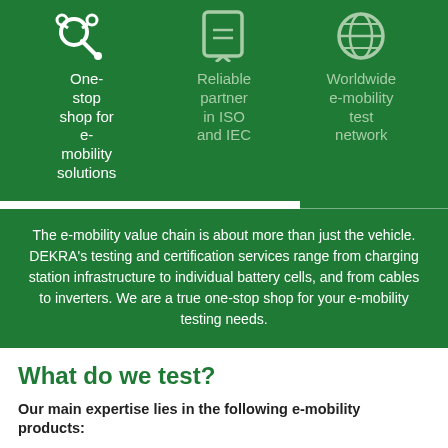[Figure (infographic): Three icons on green background: a network/search icon, a badge/certificate icon, and a globe icon, representing One-stop shop for e-mobility solutions, Reliable partner in ISO and IEC, and Worldwide e-mobility test network respectively.]
The e-mobility value chain is about more than just the vehicle. DEKRA's testing and certification services range from charging station infrastructure to individual battery cells, and from cables to inverters. We are a true one-stop shop for your e-mobility testing needs.
What do we test?
Our main expertise lies in the following e-mobility products: